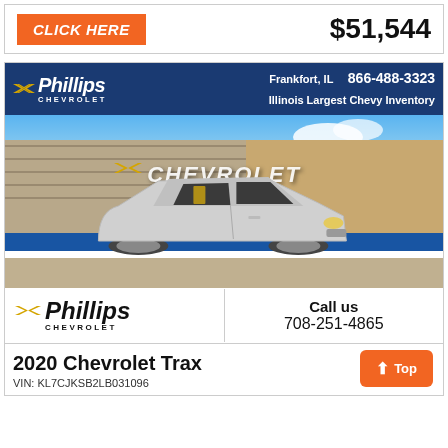CLICK HERE
$51,544
[Figure (photo): Phillips Chevrolet dealership exterior with a silver 2020 Chevrolet Trax in the foreground, blue banner with dealer info at top]
Phillips Chevrolet | Frankfort, IL | 866-488-3323 | Illinois Largest Chevy Inventory
Call us
708-251-4865
2020 Chevrolet Trax
VIN: KL7CJKSB2LB031096